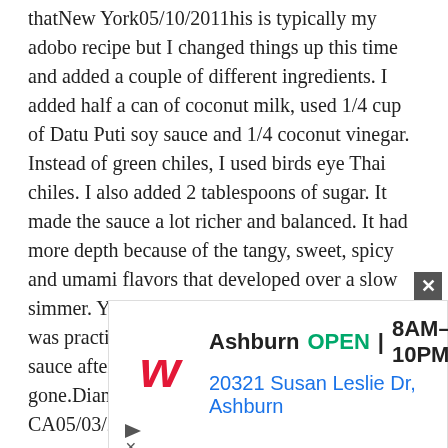thatNew York05/10/2011his is typically my adobo recipe but I changed things up this time and added a couple of different ingredients. I added half a can of coconut milk, used 1/4 cup of Datu Puti soy sauce and 1/4 coconut vinegar. Instead of green chiles, I used birds eye Thai chiles. I also added 2 tablespoons of sugar. It made the sauce a lot richer and balanced. It had more depth because of the tangy, sweet, spicy and umami flavors that developed over a slow simmer. You get a sauce that is so delicious I was practically eating rice leftovers with the sauce after all the meat was gone.Diana.MagusSan Francisco, CA05/03/20Mine did not come out salty like everyone else is saying (perhaps I used the wrong type of soy sauce) but mine was SO VINEGARY. I eventually
[Figure (other): Walgreens advertisement banner showing Ashburn store open 8AM-10PM at 20321 Susan Leslie Dr, Ashburn with Walgreens logo and navigation arrow icon]